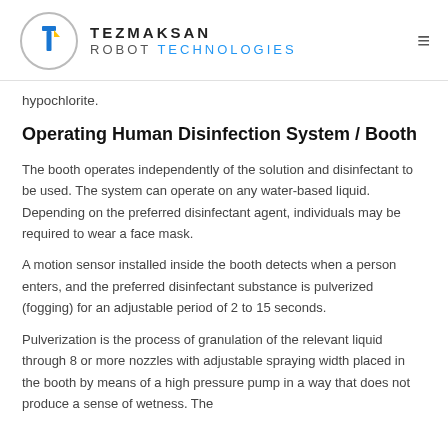TEZMAKSAN ROBOT TECHNOLOGIES
hypochlorite.
Operating Human Disinfection System / Booth
The booth operates independently of the solution and disinfectant to be used. The system can operate on any water-based liquid. Depending on the preferred disinfectant agent, individuals may be required to wear a face mask.
A motion sensor installed inside the booth detects when a person enters, and the preferred disinfectant substance is pulverized (fogging) for an adjustable period of 2 to 15 seconds.
Pulverization is the process of granulation of the relevant liquid through 8 or more nozzles with adjustable spraying width placed in the booth by means of a high pressure pump in a way that does not produce a sense of wetness. The